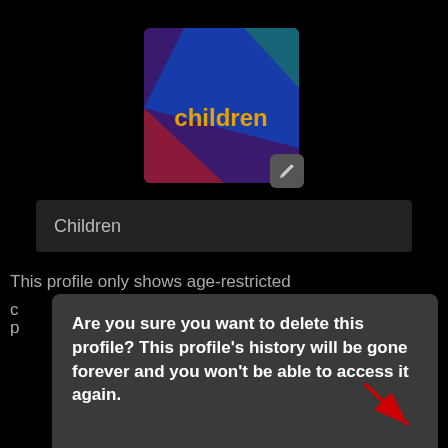[Figure (screenshot): Netflix children profile icon with colorful diagonal stripes (purple, blue, green, pink) and the word 'children' in orange text, with a pencil/edit button overlay in the bottom right]
Children
This profile only shows age-restricted
Are you sure you want to delete this profile? This profile's history will be gone forever and you won't be able to access it again.